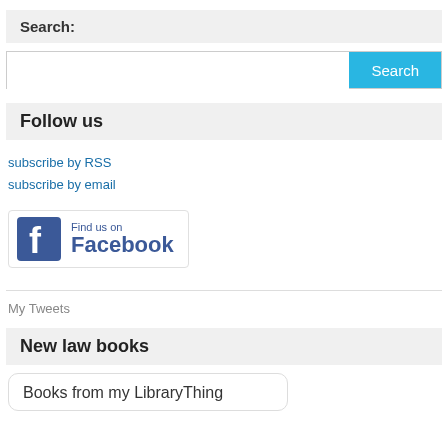Search:
[Figure (screenshot): Search input bar with blue Search button]
Follow us
subscribe by RSS
subscribe by email
[Figure (logo): Find us on Facebook badge with Facebook icon]
My Tweets
New law books
Books from my LibraryThing